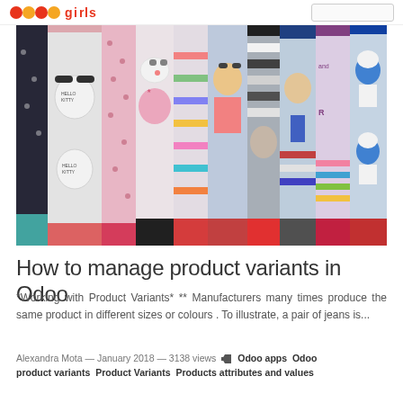Odoo Girls — [search box]
[Figure (photo): Colorful children's socks with cartoon characters (Hello Kitty, Smurfs, Tom and Jerry, etc.) hanging in a row]
How to manage product variants in Odoo
*Working with Product Variants* ** Manufacturers many times produce the same product in different sizes or colours . To illustrate, a pair of jeans is...
Alexandra Mota — January 2018 — 3138 views 🏷 Odoo apps  Odoo product variants  Product Variants  Products attributes and values